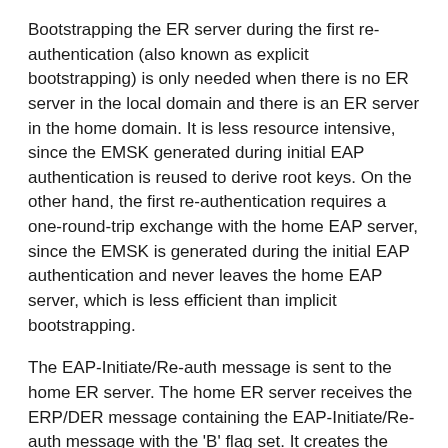Bootstrapping the ER server during the first re-authentication (also known as explicit bootstrapping) is only needed when there is no ER server in the local domain and there is an ER server in the home domain. It is less resource intensive, since the EMSK generated during initial EAP authentication is reused to derive root keys. On the other hand, the first re-authentication requires a one-round-trip exchange with the home EAP server, since the EMSK is generated during the initial EAP authentication and never leaves the home EAP server, which is less efficient than implicit bootstrapping.
The EAP-Initiate/Re-auth message is sent to the home ER server. The home ER server receives the ERP/DER message containing the EAP-Initiate/Re-auth message with the 'B' flag set. It creates the new EAP/DER message using the received ERP/DER message and performs the following processing:
Set the Application Id in the header of the message to <Diameter EAP> [RFC4072].